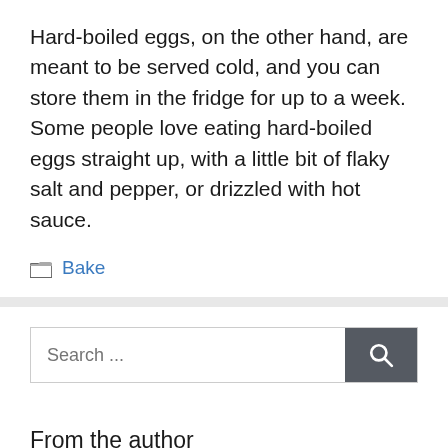Hard-boiled eggs, on the other hand, are meant to be served cold, and you can store them in the fridge for up to a week. Some people love eating hard-boiled eggs straight up, with a little bit of flaky salt and pepper, or drizzled with hot sauce.
Bake
Search ...
From the author